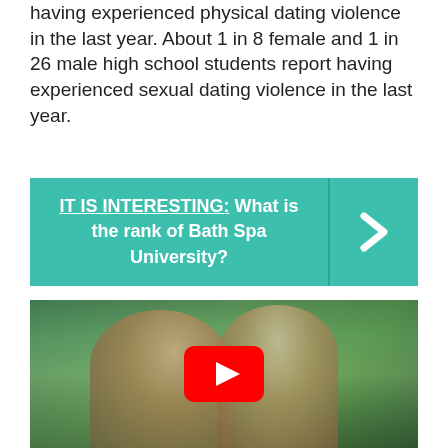having experienced physical dating violence in the last year. About 1 in 8 female and 1 in 26 male high school students report having experienced sexual dating violence in the last year.
[Figure (infographic): Teal/green banner with text 'IT IS INTERESTING: What is the rank of Bath Spa University?' with a white right-arrow chevron on the right side.]
[Figure (screenshot): YouTube video thumbnail showing a couple smiling outdoors with a green tint overlay and a red YouTube play button in the center.]